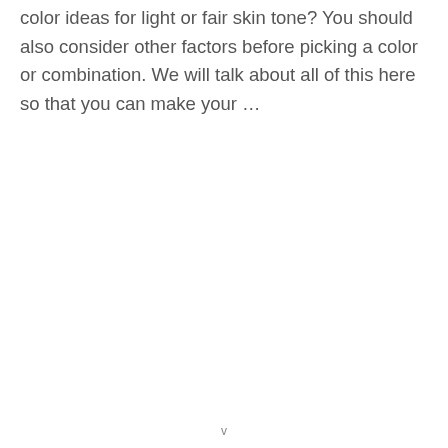color ideas for light or fair skin tone? You should also consider other factors before picking a color or combination. We will talk about all of this here so that you can make your …
v